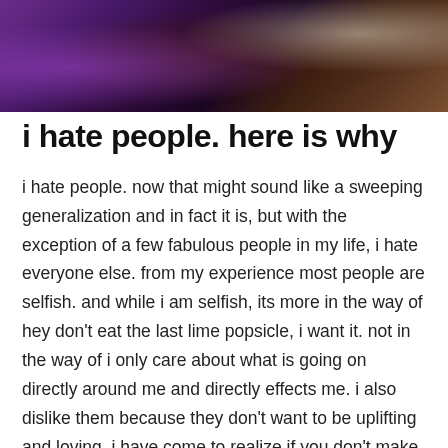[Figure (photo): Dark photo banner at top of page showing a furry animal (possibly a bear or dog) with purple/dark tones, partially visible at top of page]
i hate people. here is why
i hate people. now that might sound like a sweeping generalization and in fact it is, but with the exception of a few fabulous people in my life, i hate everyone else. from my experience most people are selfish. and while i am selfish, its more in the way of hey don't eat the last lime popsicle, i want it. not in the way of i only care about what is going on directly around me and directly effects me. i also dislike them because they don't want to be uplifting and loving. i have come to realize if you don't make me feel better about life, or keep me at the same level of discontent with life, then i don't need you in my life. i also